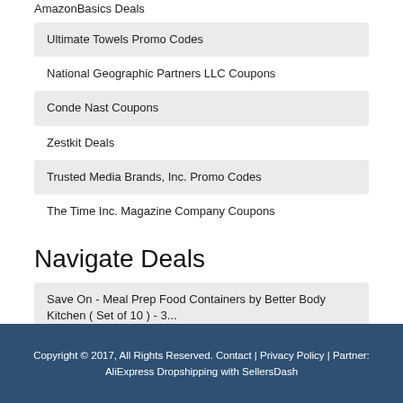AmazonBasics Deals
Ultimate Towels Promo Codes
National Geographic Partners LLC Coupons
Conde Nast Coupons
Zestkit Deals
Trusted Media Brands, Inc. Promo Codes
The Time Inc. Magazine Company Coupons
Navigate Deals
Save On - Meal Prep Food Containers by Better Body Kitchen ( Set of 10 ) - 3...
Copyright © 2017, All Rights Reserved. Contact | Privacy Policy | Partner: AliExpress Dropshipping with SellersDash